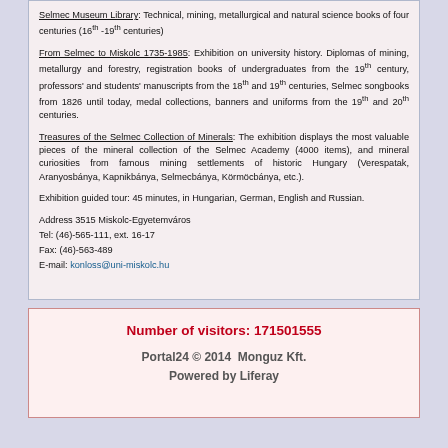Selmec Museum Library: Technical, mining, metallurgical and natural science books of four centuries (16th -19th centuries)
From Selmec to Miskolc 1735-1985: Exhibition on university history. Diplomas of mining, metallurgy and forestry, registration books of undergraduates from the 19th century, professors' and students' manuscripts from the 18th and 19th centuries, Selmec songbooks from 1826 until today, medal collections, banners and uniforms from the 19th and 20th centuries.
Treasures of the Selmec Collection of Minerals: The exhibition displays the most valuable pieces of the mineral collection of the Selmec Academy (4000 items), and mineral curiosities from famous mining settlements of historic Hungary (Verespatak, Aranyosbánya, Kapnikbánya, Selmecbánya, Körmöcbánya, etc.).
Exhibition guided tour: 45 minutes, in Hungarian, German, English and Russian.
Address 3515 Miskolc-Egyetemváros
Tel: (46)-565-111, ext. 16-17
Fax: (46)-563-489
E-mail: konloss@uni-miskolc.hu
Number of visitors: 171501555
Portal24 © 2014  Monguz Kft.
Powered by Liferay